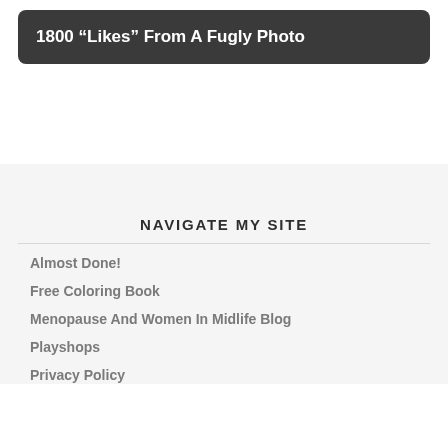1800 “Likes” From A Fugly Photo
NAVIGATE MY SITE
Almost Done!
Free Coloring Book
Menopause And Women In Midlife Blog
Playshops
Privacy Policy